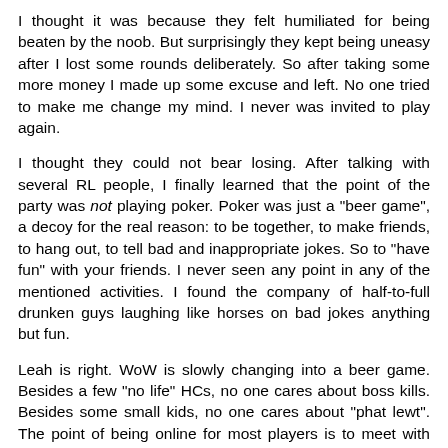I thought it was because they felt humiliated for being beaten by the noob. But surprisingly they kept being uneasy after I lost some rounds deliberately. So after taking some more money I made up some excuse and left. No one tried to make me change my mind. I never was invited to play again.
I thought they could not bear losing. After talking with several RL people, I finally learned that the point of the party was not playing poker. Poker was just a "beer game", a decoy for the real reason: to be together, to make friends, to hang out, to tell bad and inappropriate jokes. So to "have fun" with your friends. I never seen any point in any of the mentioned activities. I found the company of half-to-full drunken guys laughing like horses on bad jokes anything but fun.
Leah is right. WoW is slowly changing into a beer game. Besides a few "no life" HCs, no one cares about boss kills. Besides some small kids, no one cares about "phat lewt". The point of being online for most players is to meet with friends and buddies, tell dumb and inappropriate jokes while AoE-ing a 5-man, or ganking poor Faerlina. To feel that they are part of a "team", to feel that they are loved, welcomed